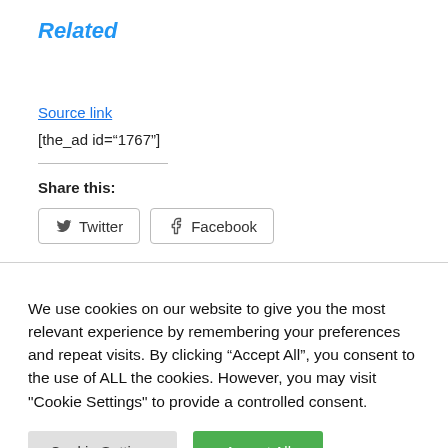Related
Source link
[the_ad id="1767"]
Share this:
Twitter   Facebook
We use cookies on our website to give you the most relevant experience by remembering your preferences and repeat visits. By clicking “Accept All”, you consent to the use of ALL the cookies. However, you may visit "Cookie Settings" to provide a controlled consent.
Cookie Settings   Accept All